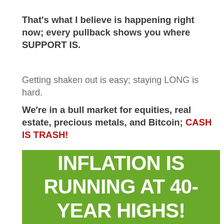That's what I believe is happening right now; every pullback shows you where SUPPORT IS.
Getting shaken out is easy; staying LONG is hard.
We're in a bull market for equities, real estate, precious metals, and Bitcoin; CASH IS TRASH!
[Figure (infographic): Green banner with white bold text reading: INFLATION IS RUNNING AT 40-YEAR HIGHS!]